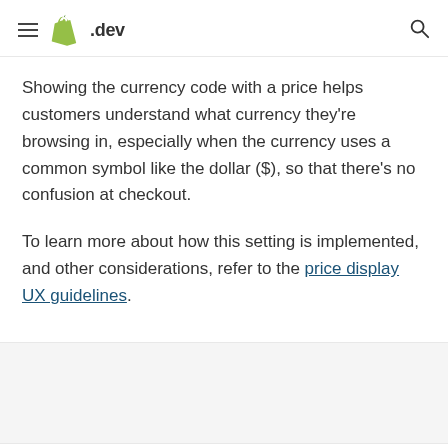.dev
Showing the currency code with a price helps customers understand what currency they're browsing in, especially when the currency uses a common symbol like the dollar ($), so that there's no confusion at checkout.
To learn more about how this setting is implemented, and other considerations, refer to the price display UX guidelines.
Start building today
Sign up for a Partner account to get started